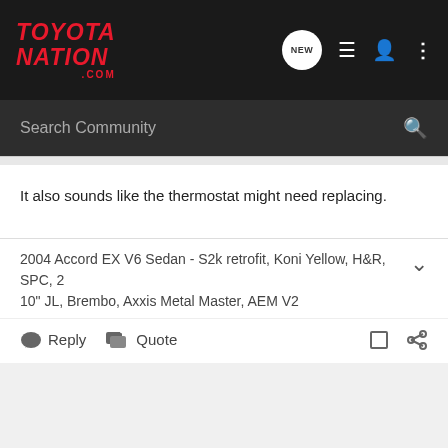TOYOTANATION.COM
It also sounds like the thermostat might need replacing.
2004 Accord EX V6 Sedan - S2k retrofit, Koni Yellow, H&R, SPC, 2 10" JL, Brembo, Axxis Metal Master, AEM V2
Reply  Quote
Dave's · Dave's
Joined Oct 29, 2005 · 1,846 Posts